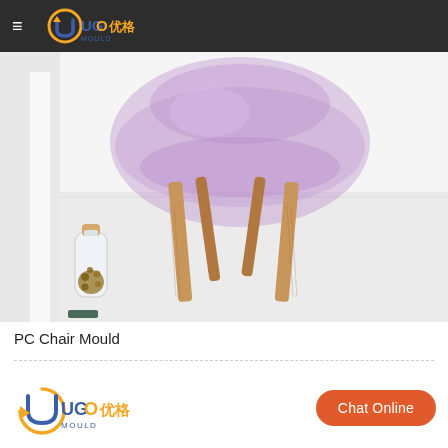UGO MOULD 优格
[Figure (photo): A transparent purple plastic chair with wooden legs photographed in a bright white room, with a glass bottle with cork and nuts/seeds on the left side floor]
PC Chair Mould
[Figure (logo): UGO MOULD 优格 company logo — orange circle with U-shaped arrow, text UGO MOULD in blue and 优格 in orange]
Chat Online